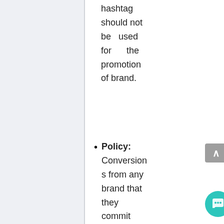hashtag should not be used for the promotion of brand.
Policy: Conversions from any brand that they commit brand bidding with, will be all rejected.